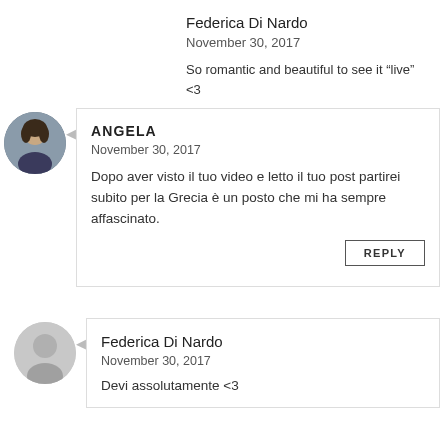Federica Di Nardo
November 30, 2017
So romantic and beautiful to see it “live” <3
REPLY
[Figure (photo): Profile photo of Angela, a woman with dark hair]
ANGELA
November 30, 2017
Dopo aver visto il tuo video e letto il tuo post partirei subito per la Grecia è un posto che mi ha sempre affascinato.
REPLY
[Figure (photo): Generic grey avatar silhouette for Federica Di Nardo]
Federica Di Nardo
November 30, 2017
Devi assolutamente <3